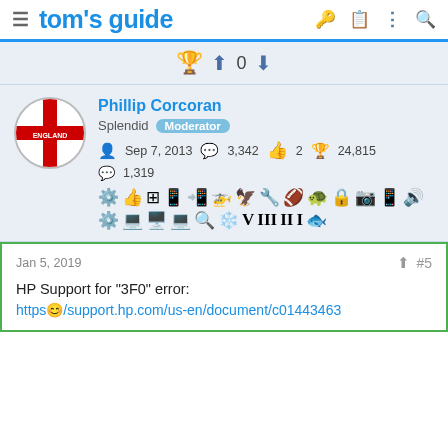tom's guide
0
Phillip Corcoran
Splendid Moderator
Sep 7, 2013  3,342  2  24,815
1,319
Jan 5, 2019  #5
HP Support for "3F0" error:
https😊/support.hp.com/us-en/document/c01443463